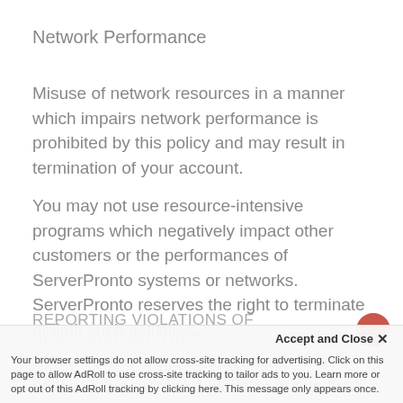Network Performance
Misuse of network resources in a manner which impairs network performance is prohibited by this policy and may result in termination of your account.
You may not use resource-intensive programs which negatively impact other customers or the performances of ServerPronto systems or networks. ServerPronto reserves the right to terminate or limit such activities.
REPORTING VIOLATIONS OF SERVERPRONTO AUP
ServerPronto requests that anyone who believes that there is a violation of this AUP direct the information to
Accept and Close ×
Your browser settings do not allow cross-site tracking for advertising. Click on this page to allow AdRoll to use cross-site tracking to tailor ads to you. Learn more or opt out of this AdRoll tracking by clicking here. This message only appears once.